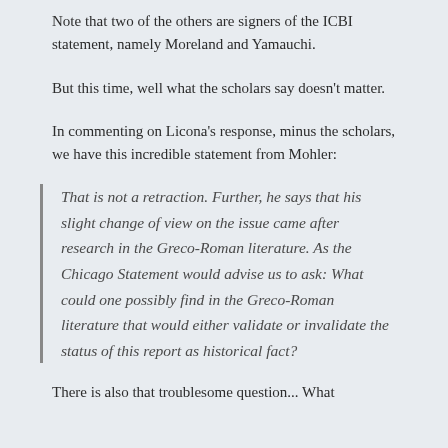Note that two of the others are signers of the ICBI statement, namely Moreland and Yamauchi.
But this time, well what the scholars say doesn’t matter.
In commenting on Licona’s response, minus the scholars, we have this incredible statement from Mohler:
That is not a retraction. Further, he says that his slight change of view on the issue came after research in the Greco-Roman literature. As the Chicago Statement would advise us to ask: What could one possibly find in the Greco-Roman literature that would either validate or invalidate the status of this report as historical fact?
There is also that troublesome question... What